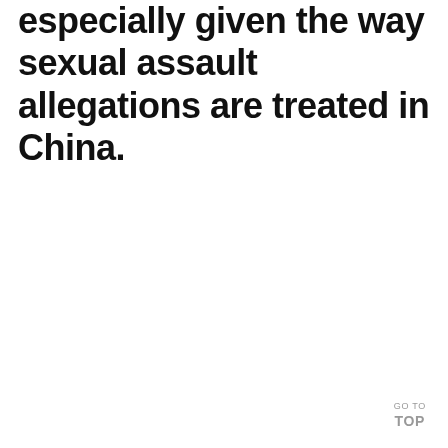especially given the way sexual assault allegations are treated in China.
GO TO TOP